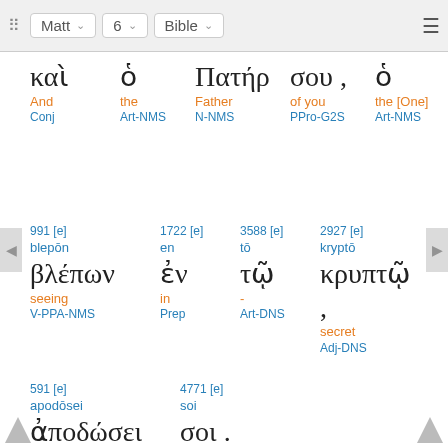Matt | 6 | Bible
καὶ ὁ Πατήρ σου , ὁ | And the Father of you the [One] | Conj Art-NMS N-NMS PPro-G2S Art-NMS
991 [e] 1722 [e] 3588 [e] 2927 [e] | blepōn en tō kryptō | βλέπων ἐν τῷ κρυπτῷ , | seeing in - secret | V-PPA-NMS Prep Art-DNS Adj-DNS
591 [e] 4771 [e] | apodōsei soi | ἀποδώσει σοι . | will reward you